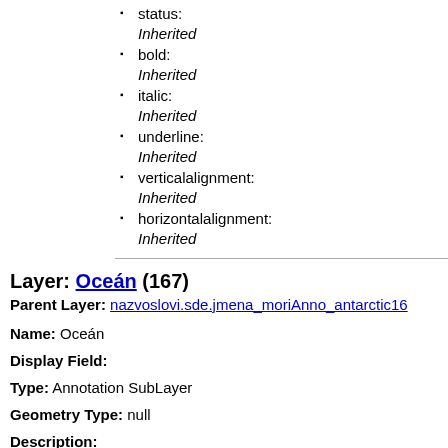status: Inherited
bold: Inherited
italic: Inherited
underline: Inherited
verticalalignment: Inherited
horizontalalignment: Inherited
Layer: Oceán (167)
Parent Layer: nazvoslovi.sde.jmena_moriAnno_antarctic16
Name: Oceán
Display Field:
Type: Annotation SubLayer
Geometry Type: null
Description: